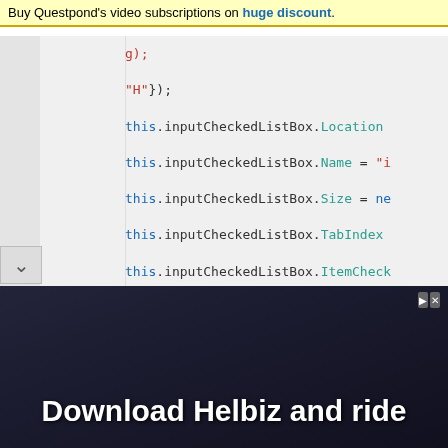Buy Questpond's video subscriptions on huge discount.
[Figure (screenshot): Code editor showing C# code snippet with lines: g); then "H"}); then this.inputCheckedListBox.Location, this.inputCheckedListBox.Name = "i, this.inputCheckedListBox.Size = ne, this.inputCheckedListBox.TabIndex, this.inputCheckedListBox.ItemCheck, // , // displayListBox, //]
[Figure (photo): Advertisement banner: Download Helbiz and ride, showing a person riding an electric scooter or bike in an urban setting]